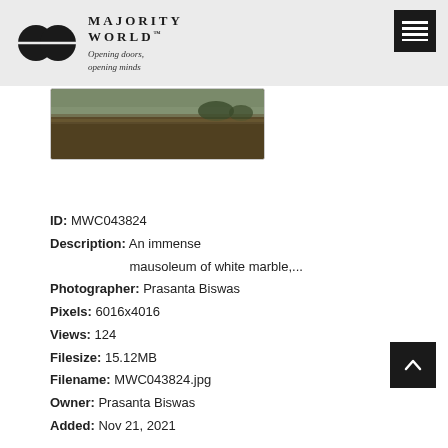MAJORITY WORLD™ — Opening doors, opening minds
[Figure (photo): Partial thumbnail of a landscape photograph showing dry grassland/moorland with trees in the background, dark tones.]
ID: MWC043824
Description: An immense mausoleum of white marble,...
Photographer: Prasanta Biswas
Pixels: 6016x4016
Views: 124
Filesize: 15.12MB
Filename: MWC043824.jpg
Owner: Prasanta Biswas
Added: Nov 21, 2021